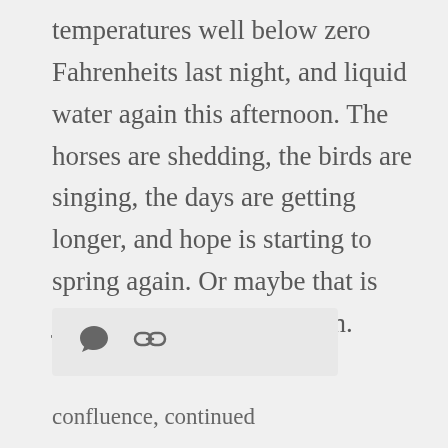temperatures well below zero Fahrenheits last night, and liquid water again this afternoon. The horses are shedding, the birds are singing, the days are getting longer, and hope is starting to spring again. Or maybe that is just spring, springing again.
[Figure (other): A rounded rectangle icon bar with a speech bubble icon and a link/chain icon, on a light grey background.]
confluence, continued